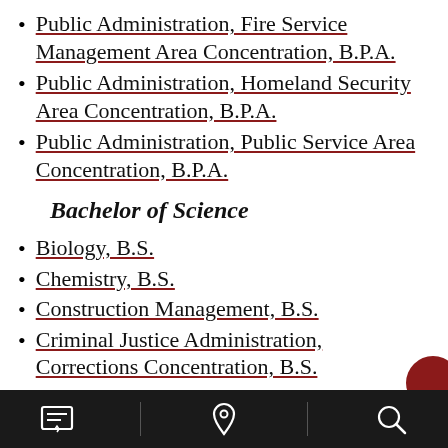Public Administration, Fire Service Management Area Concentration, B.P.A.
Public Administration, Homeland Security Area Concentration, B.P.A.
Public Administration, Public Service Area Concentration, B.P.A.
Bachelor of Science
Biology, B.S.
Chemistry, B.S.
Construction Management, B.S.
Criminal Justice Administration, Corrections Concentration, B.S.
Criminal Justice Administration, Law